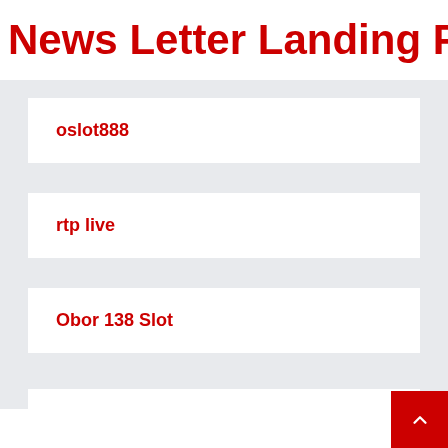News Letter Landing Pag
oslot888
rtp live
Obor 138 Slot